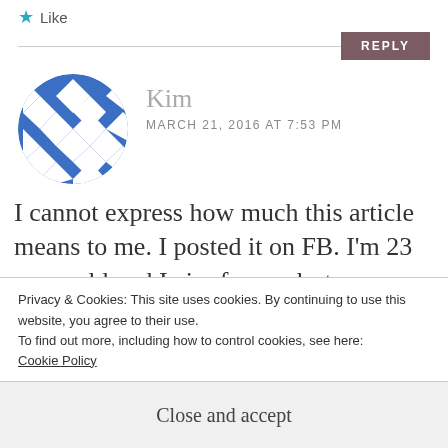★ Like
REPLY
[Figure (illustration): Circular avatar with blue geometric diamond/rhombus pattern on white background]
Kim
MARCH 21, 2016 AT 7:53 PM
I cannot express how much this article means to me. I posted it on FB. I'm 23 years old and I aim for modesty. However, it can be a lonesome
Privacy & Cookies: This site uses cookies. By continuing to use this website, you agree to their use.
To find out more, including how to control cookies, see here:
Cookie Policy
Close and accept
personally and I've come to the